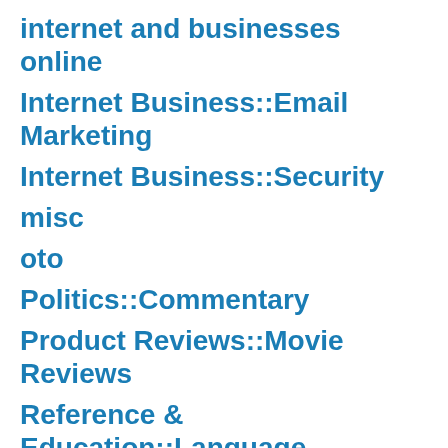internet and businesses online
Internet Business::Email Marketing
Internet Business::Security
misc
oto
Politics::Commentary
Product Reviews::Movie Reviews
Reference & Education::Language
Reference & Education::Science
slot